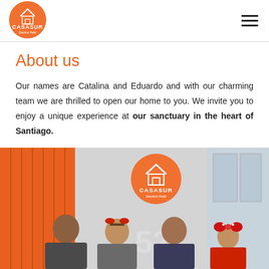[Figure (logo): CasaSur logo — orange circle with house icon, CASASUR text, and subtitle text]
About us
Our names are Catalina and Eduardo and with our charming team we are thrilled to open our home to you. We invite you to enjoy a unique experience at our sanctuary in the heart of Santiago.
[Figure (photo): Group photo of team members in Christmas attire in front of CasaSur sign showing number 527, with orange vertical panels on the left]